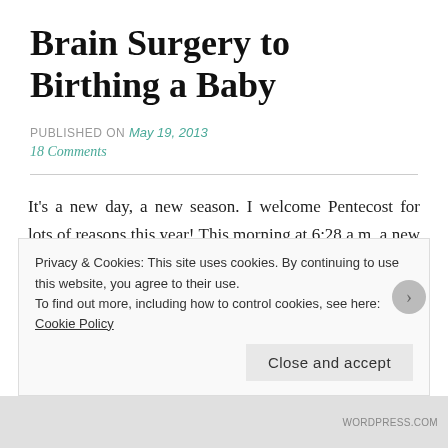Brain Surgery to Birthing a Baby
PUBLISHED ON May 19, 2013
18 Comments
It's a new day, a new season. I welcome Pentecost for lots of reasons this year! This morning at 6:28 a.m. a new granddaughter was born. Joella Anne McClendon was born to Josh and Karen and beautifully welcomed by her big sister Kayla. Joella is an interesting name, and it fits both Pentecost
Privacy & Cookies: This site uses cookies. By continuing to use this website, you agree to their use.
To find out more, including how to control cookies, see here: Cookie Policy
Close and accept